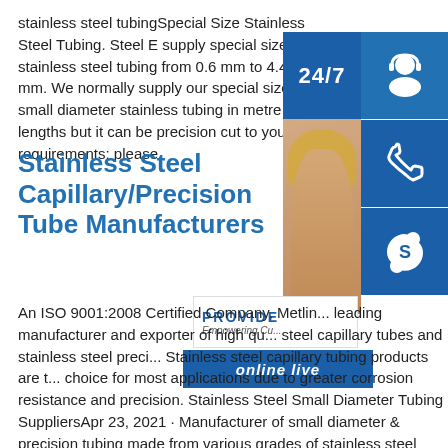stainless steel tubingSpecial Size Stainless Steel Tubing. Steel E supply special size stainless steel tubing from 0.6 mm to 4.4 mm. We normally supply our special size small diameter stainless tubing in metre lengths but it can be precision cut to your requirements; please
[Figure (infographic): Customer support widget with 24/7 label, headset icon, phone icon, Skype icon, photo of woman with headset, PROVIDE Empowering Cu... text, and online live button]
Stainless Steel Capillary/Precision Tube Manufacturers
An ISO 9001:2008 Certified Company, Metlin... leading manufacturer and exporter of high qu... steel capillary tubes and stainless steel preci... Stainless steel capillary tubing products are t... choice for most applications due to greater corrosion resistance and precision. Stainless Steel Small Diameter Tubing SuppliersApr 23, 2021 · Manufacturer of small diameter & precision tubing made from various grades of stainless steel including 17-7, 17-4, 15-5, 309, 303, 347 & 455. Available in 4 ft. to 26 ft. length with large & small OD & thin & heavy walls.